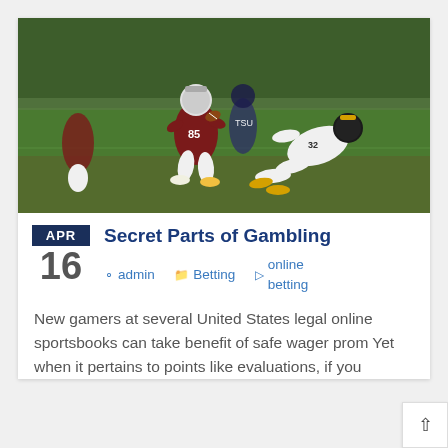[Figure (photo): Football players on a field during a game. A player in a dark red uniform with number 85 carries the ball while a defender in white and gold lunges to tackle.]
Secret Parts of Gambling
APR  16  admin  Betting  online betting
New gamers at several United States legal online sportsbooks can take benefit of safe wager prom Yet when it pertains to points like evaluations, if you